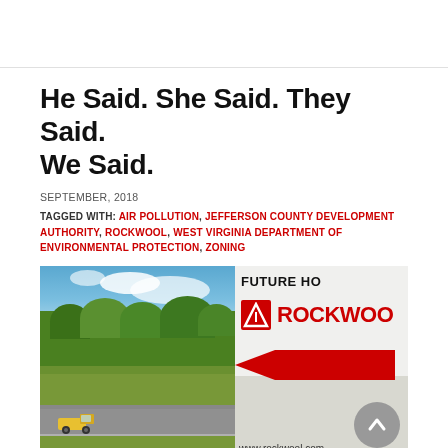He Said. She Said. They Said. We Said.
SEPTEMBER, 2018
TAGGED WITH: AIR POLLUTION, JEFFERSON COUNTY DEVELOPMENT AUTHORITY, ROCKWOOL, WEST VIRGINIA DEPARTMENT OF ENVIRONMENTAL PROTECTION, ZONING
[Figure (photo): Two-panel image: left panel shows a rural road with a yellow truck, green grass fields and trees under a blue sky; right panel shows a Rockwool branded sign reading 'FUTURE HO[ME] ROCKWOO[L]' with a red arrow pointing left and text www.rockwool.com]